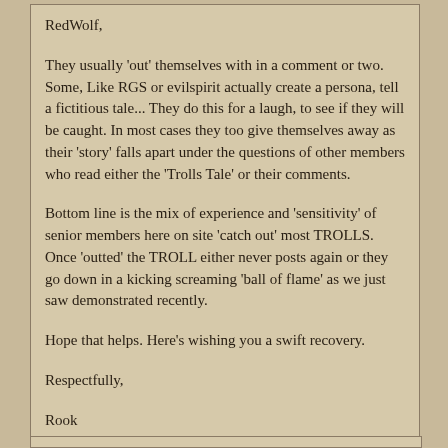RedWolf,

They usually 'out' themselves with in a comment or two. Some, Like RGS or evilspirit actually create a persona, tell a fictitious tale... They do this for a laugh, to see if they will be caught. In most cases they too give themselves away as their 'story' falls apart under the questions of other members who read either the 'Trolls Tale' or their comments.

Bottom line is the mix of experience and 'sensitivity' of senior members here on site 'catch out' most TROLLS. Once 'outted' the TROLL either never posts again or they go down in a kicking screaming 'ball of flame' as we just saw demonstrated recently.

Hope that helps. Here's wishing you a swift recovery.

Respectfully,

Rook